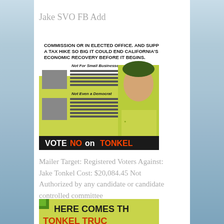Jake SVO FB Add
[Figure (photo): Anti-Jake Tonkel political mailer showing text 'COMMISSION OR IN ELECTED OFFICE. AND SUPPORTS A TAX HIKE SO BIG IT COULD END CALIFORNIA'S ECONOMIC RECOVERY BEFORE IT BEGINS.' with sections 'Not For Small Businesses' and 'Not Even a Democrat', featuring a photo of a young man in a yellow-green shirt. Bottom reads 'VOTE NO ON TONKEL']
Mailer Target: Registered Voters Against: Jake Tonkel Cost: $20,084.45 Not Authorized by any candidate or candidate controlled committee
[Figure (photo): Partial view of a political mailer with green background showing text 'HERE COMES TH' and 'TONKEL TRUC' (text cut off)]